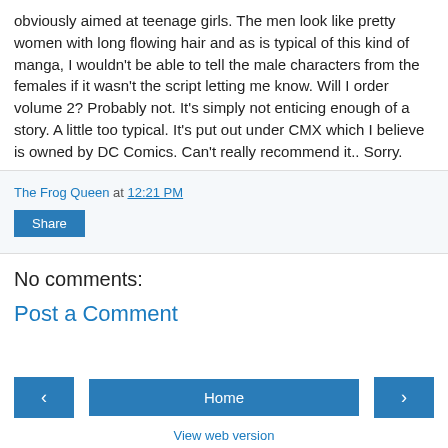obviously aimed at teenage girls. The men look like pretty women with long flowing hair and as is typical of this kind of manga, I wouldn't be able to tell the male characters from the females if it wasn't the script letting me know. Will I order volume 2? Probably not. It's simply not enticing enough of a story. A little too typical. It's put out under CMX which I believe is owned by DC Comics. Can't really recommend it.. Sorry.
The Frog Queen at 12:21 PM
Share
No comments:
Post a Comment
‹
Home
›
View web version